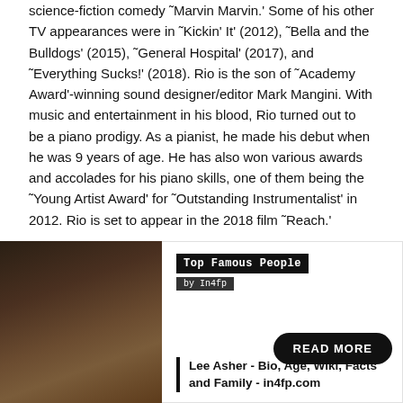science-fiction comedy ˜Marvin Marvin.' Some of his other TV appearances were in ˜Kickin' It' (2012), ˜Bella and the Bulldogs' (2015), ˜General Hospital' (2017), and ˜Everything Sucks!' (2018). Rio is the son of ˜Academy Award'-winning sound designer/editor Mark Mangini. With music and entertainment in his blood, Rio turned out to be a piano prodigy. As a pianist, he made his debut when he was 9 years of age. He has also won various awards and accolades for his piano skills, one of them being the ˜Young Artist Award' for ˜Outstanding Instrumentalist' in 2012. Rio is set to appear in the 2018 film ˜Reach.'
[Figure (photo): Close-up photo of a person with dark curly hair]
Top Famous People by In4fp
READ MORE
Lee Asher - Bio, Age, Wiki, Facts and Family - in4fp.com